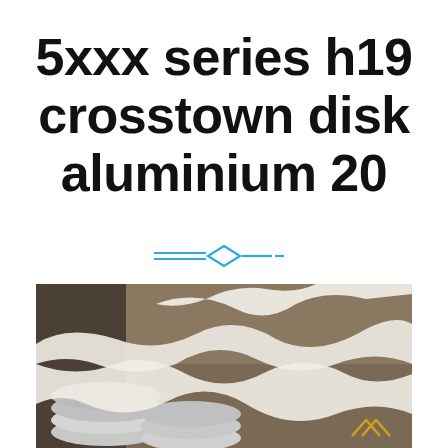5xxx series h19 crosstown disk aluminium 20
[Figure (illustration): Decorative divider with two horizontal lines and a diamond shape in cyan/blue color]
[Figure (photo): Stack of round aluminium disks in a warehouse/factory setting with white protective sheet material draped over them]